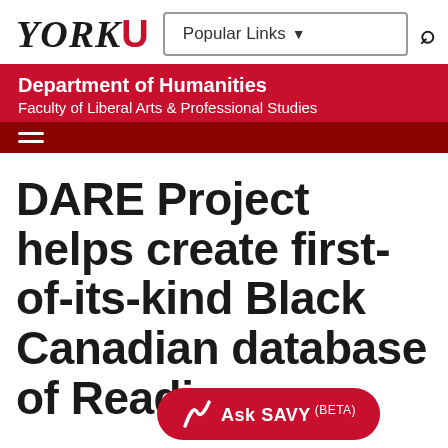[Figure (logo): York University logo with YORK in serif italic and red U symbol]
Popular Links ▾
Department of Humanities
Faculty of Liberal Arts & Professional Studies
DARE Project helps create first-of-its-kind Black Canadian database of Readings